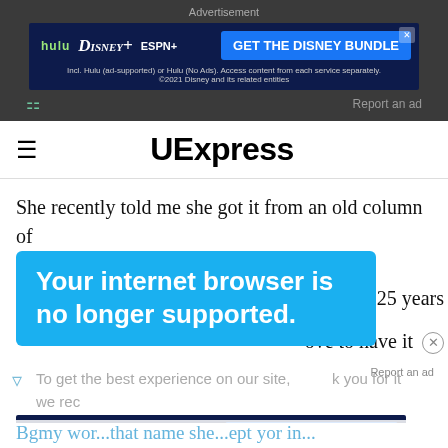[Figure (screenshot): Advertisement banner: Disney Bundle ad with Hulu, Disney+, ESPN+ logos and GET THE DISNEY BUNDLE button on dark blue background]
Advertisement
Report an ad
UExpress
She recently told me she got it from an old column of yours.
Your internet browser is no longer supported.
been 25 years
ove to have it
To get the best experience on our site, we rec... latest v...
Report an ad
[Figure (screenshot): Second Disney Bundle advertisement banner]
Bgmy wor...that name she...ept yor in...